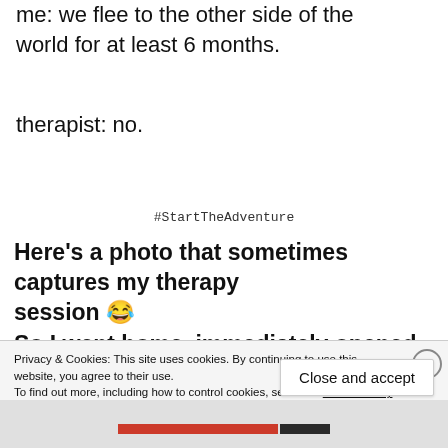me: we flee to the other side of the world for at least 6 months.
therapist: no.
#StartTheAdventure
Here's a photo that sometimes captures my therapy session 😂
So I went home, immediately opened the antique
Privacy & Cookies: This site uses cookies. By continuing to use this website, you agree to their use. To find out more, including how to control cookies, see here: Cookie Policy
Close and accept